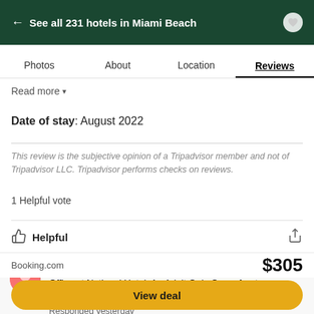← See all 231 hotels in Miami Beach
Photos  About  Location  Reviews
Read more ▼
Date of stay: August 2022
This review is the subjective opinion of a Tripadvisor member and not of Tripadvisor LLC. Tripadvisor performs checks on reviews.
1 Helpful vote
Helpful
Response from Marcel Pena, Guest Services / Front Office at National Hotel, An Adult Only Oceanfront Resort
Responded yesterday
Booking.com   $305
View deal